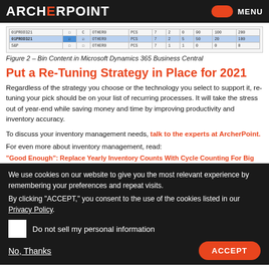ARCHERPOINT | MENU
[Figure (screenshot): Table screenshot showing Bin Content in Microsoft Dynamics 365 Business Central with rows for items like 01PROD321, 01PROD321 (highlighted), S&P with columns for checkboxes, OTHER0, PCS/PCS/PCS, numeric values]
Figure 2 – Bin Content in Microsoft Dynamics 365 Business Central
Put a Re-Tuning Strategy in Place for 2021
Regardless of the strategy you choose or the technology you select to support it, re-tuning your pick should be on your list of recurring processes. It will take the stress out of year-end while saving money and time by improving productivity and inventory accuracy.
To discuss your inventory management needs, talk to the experts at ArcherPoint.
For even more about inventory management, read:
"Good Enough": Replace Yearly Inventory Counts With Cycle Counting For Big Benefits
Improve Inventory Management With System-Based Guidance In MRP
Optimizing Inventory Planning and Forecasting: Nine Questions to Ask